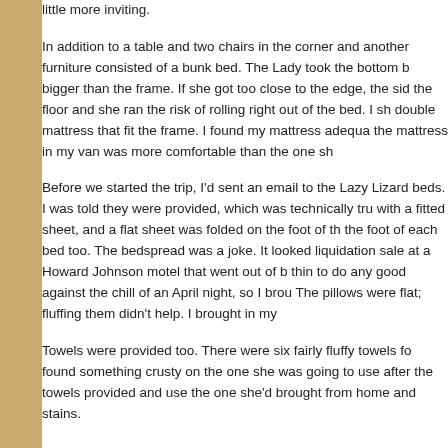little more inviting.

In addition to a table and two chairs in the corner and another furniture consisted of a bunk bed. The Lady took the bottom b bigger than the frame. If she got too close to the edge, the sid the floor and she ran the risk of rolling right out of the bed. I sh double mattress that fit the frame. I found my mattress adequa the mattress in my van was more comfortable than the one sh

Before we started the trip, I'd sent an email to the Lazy Lizard beds. I was told they were provided, which was technically tru with a fitted sheet, and a flat sheet was folded on the foot of th the foot of each bed too. The bedspread was a joke. It looked liquidation sale at a Howard Johnson motel that went out of b thin to do any good against the chill of an April night, so I brou The pillows were flat; fluffing them didn't help. I brought in my

Towels were provided too. There were six fairly fluffy towels fo found something crusty on the one she was going to use after the towels provided and use the one she'd brought from home and stains.